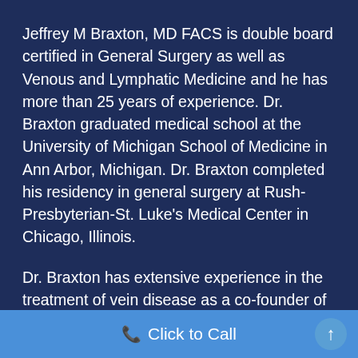Jeffrey M Braxton, MD FACS is double board certified in General Surgery as well as Venous and Lymphatic Medicine and he has more than 25 years of experience. Dr. Braxton graduated medical school at the University of Michigan School of Medicine in Ann Arbor, Michigan. Dr. Braxton completed his residency in general surgery at Rush-Presbyterian-St. Luke's Medical Center in Chicago, Illinois.
Dr. Braxton has extensive experience in the treatment of vein disease as a co-founder of AmeriVein vein treatment clinics. Dr. Braxton moved to Arizona in 2018 and worked at Arizona Vein and Vascular prior to joining the medical team at CiC. Dr. Braxton is board certified by the American Board of
Click to Call